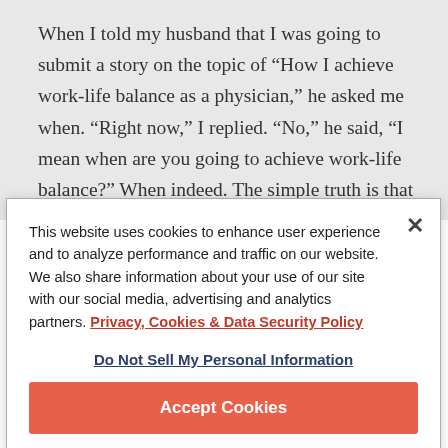When I told my husband that I was going to submit a story on the topic of “How I achieve work-life balance as a physician,” he asked me when. “Right now,” I replied. “No,” he said, “I mean when are you going to achieve work-life balance?” When indeed. The simple truth is that achieving work-life balance is like achieving world
This website uses cookies to enhance user experience and to analyze performance and traffic on our website. We also share information about your use of our site with our social media, advertising and analytics partners. Privacy, Cookies & Data Security Policy
Do Not Sell My Personal Information
Accept Cookies